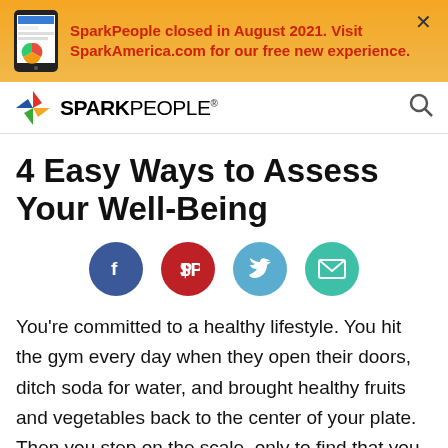SparkPeople closed in August 2021. Visit SparkAmerica.com for our free new experience.
[Figure (logo): SparkPeople logo with colorful diamond icon]
4 Easy Ways to Assess Your Well-Being
[Figure (infographic): Social sharing buttons: Facebook, Pinterest, Twitter, Email]
You're committed to a healthy lifestyle. You hit the gym every day when they open their doors, ditch soda for water, and brought healthy fruits and vegetables back to the center of your plate. Then you step on the scale, only to find that you haven't lost a single pound after all your hard